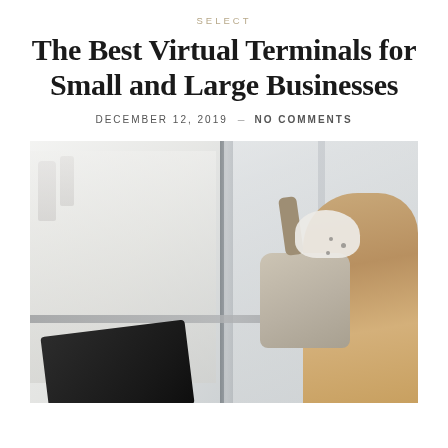SELECT
The Best Virtual Terminals for Small and Large Businesses
DECEMBER 12, 2019  -  NO COMMENTS
[Figure (photo): A woman seen from behind carrying a grey bag, looking out a large window, with a tablet visible in the foreground. Bright, minimal setting.]